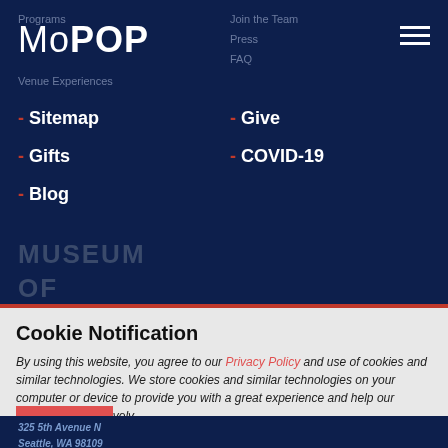[Figure (screenshot): MoPOP museum website navigation menu screenshot with dark navy background showing logo, hamburger menu, navigation links, and cookie notification overlay]
MoPOP
Sitemap
Gifts
Blog
Give
COVID-19
MUSEUM OF POP CULTURE
Cookie Notification
By using this website, you agree to our Privacy Policy and use of cookies and similar technologies. We store cookies and similar technologies on your computer or device to provide you with a great experience and help our website run effectively.
CLOSE